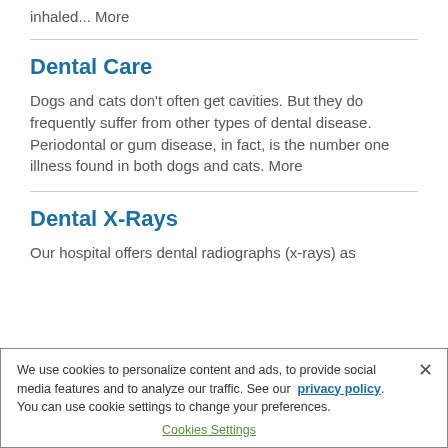inhaled... More
Dental Care
Dogs and cats don't often get cavities. But they do frequently suffer from other types of dental disease. Periodontal or gum disease, in fact, is the number one illness found in both dogs and cats. More
Dental X-Rays
Our hospital offers dental radiographs (x-rays) as
We use cookies to personalize content and ads, to provide social media features and to analyze our traffic. See our privacy policy. You can use cookie settings to change your preferences.
Cookies Settings